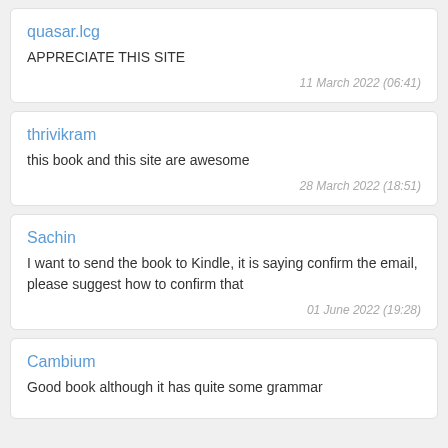quasar.lcg
APPRECIATE THIS SITE
11 March 2022 (06:41)
thrivikram
this book and this site are awesome
28 March 2022 (18:51)
Sachin
I want to send the book to Kindle, it is saying confirm the email, please suggest how to confirm that
01 June 2022 (19:28)
Cambium
Good book although it has quite some grammar